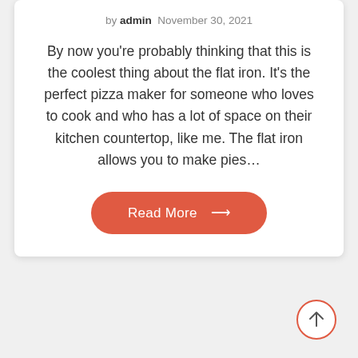by admin  November 30, 2021
By now you're probably thinking that this is the coolest thing about the flat iron. It's the perfect pizza maker for someone who loves to cook and who has a lot of space on their kitchen countertop, like me. The flat iron allows you to make pies...
[Figure (other): Orange rounded button labeled 'Read More' with a right arrow]
[Figure (other): Scroll-to-top circular button with an upward arrow, coral/red circle outline]